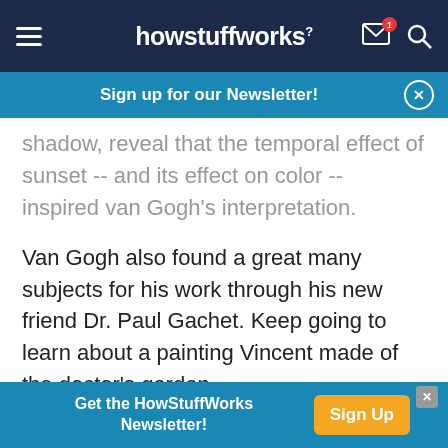howstuffworks
Sign up for our Newsletter!
shadow, reveal that the temporal effect of sunset -- and its effect on color -- inspired van Gogh's interpretation.
Van Gogh also found a great many subjects for his work through his new friend Dr. Paul Gachet. Keep going to learn about a painting Vincent made of the doctor's garden.
To learn more about art, famous artists, and
Get the HowStuffWorks Newsletter!